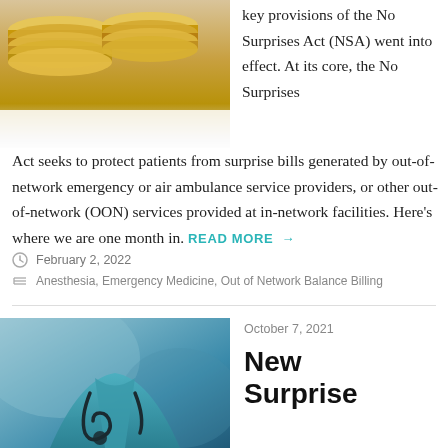[Figure (photo): Stack of coins photographed close-up on white background]
key provisions of the No Surprises Act (NSA) went into effect. At its core, the No Surprises Act seeks to protect patients from surprise bills generated by out-of-network emergency or air ambulance service providers, or other out-of-network (OON) services provided at in-network facilities. Here’s where we are one month in. READ MORE →
February 2, 2022
Anesthesia, Emergency Medicine, Out of Network Balance Billing
[Figure (photo): Doctor wearing teal scrubs with stethoscope around neck]
October 7, 2021
New Surprise